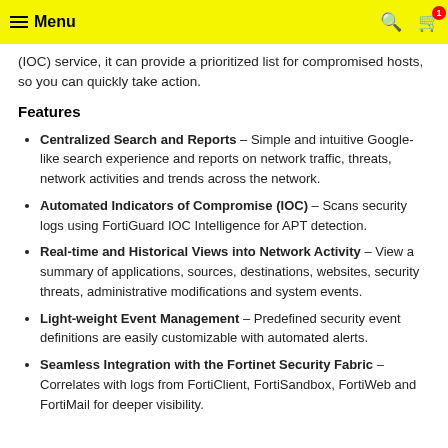Menu
(IOC) service, it can provide a prioritized list for compromised hosts, so you can quickly take action.
Features
Centralized Search and Reports – Simple and intuitive Google-like search experience and reports on network traffic, threats, network activities and trends across the network.
Automated Indicators of Compromise (IOC) – Scans security logs using FortiGuard IOC Intelligence for APT detection.
Real-time and Historical Views into Network Activity – View a summary of applications, sources, destinations, websites, security threats, administrative modifications and system events.
Light-weight Event Management – Predefined security event definitions are easily customizable with automated alerts.
Seamless Integration with the Fortinet Security Fabric – Correlates with logs from FortiClient, FortiSandbox, FortiWeb and FortiMail for deeper visibility.